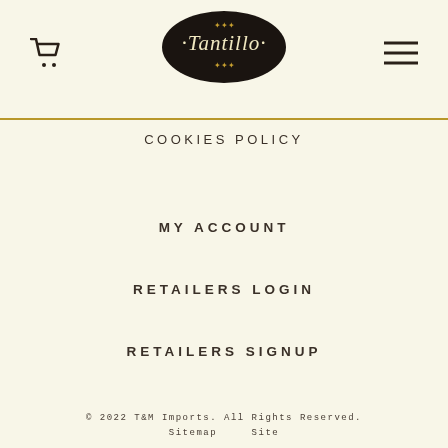Tantillo (logo)
COOKIES POLICY
MY ACCOUNT
RETAILERS LOGIN
RETAILERS SIGNUP
© 2022 T&M Imports. All Rights Reserved. Sitemap Site